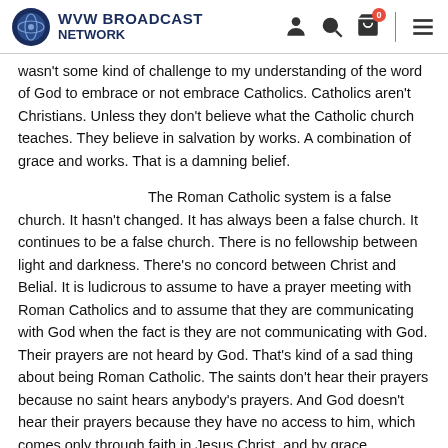WVW BROADCAST NETWORK
wasn't some kind of challenge to my understanding of the word of God to embrace or not embrace Catholics.  Catholics aren't Christians.  Unless they don't believe what the Catholic church teaches.  They believe in salvation by works.  A combination of grace and works.  That is a damning belief.
The Roman Catholic system is a false church.  It hasn't changed.  It has always been a false church.  It continues to be a false church.  There is no fellowship between light and darkness.  There's no concord between Christ and Belial.  It is ludicrous to assume to have a prayer meeting with Roman Catholics and to assume that they are communicating with God when the fact is they are not communicating with God.  Their prayers are not heard by God.  That's kind of a sad thing about being Roman Catholic.  The saints don't hear their prayers because no saint hears anybody's prayers.  And God doesn't hear their prayers because they have no access to him, which comes only through faith in Jesus Christ, and by grace